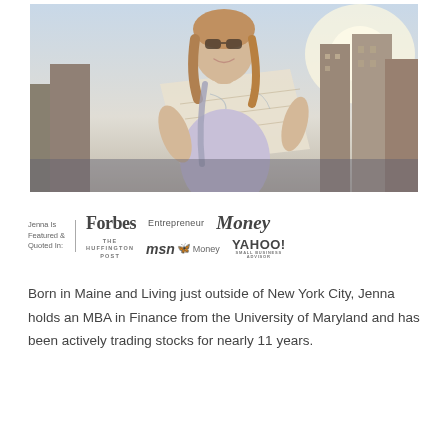[Figure (photo): Young woman with backpack smiling and reading a map on a rooftop with city buildings in the background]
Jenna Is Featured & Quoted In: Forbes  Entrepreneur  Money  The Huffington Post  msn Money  YAHOO! SMALL BUSINESS ADVISOR
Born in Maine and Living just outside of New York City, Jenna holds an MBA in Finance from the University of Maryland and has been actively trading stocks for nearly 11 years.